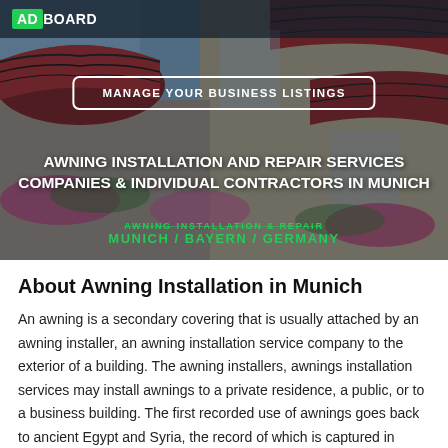[Figure (photo): Hero banner showing red striped awnings on a European-style building exterior with flowers, blue sky visible. Dark overlay applied.]
ADBOARD
MANAGE YOUR BUSINESS LISTINGS
AWNING INSTALLATION AND REPAIR SERVICES COMPANIES & INDIVIDUAL CONTRACTORS IN MUNICH
AWNING INSTALLATION & REPAIR
MUNICH / BAYERN / GERMANY
About Awning Installation in Munich
An awning is a secondary covering that is usually attached by an awning installer, an awning installation service company to the exterior of a building. The awning installers, awnings installation services may install awnings to a private residence, a public, or to a business building. The first recorded use of awnings goes back to ancient Egypt and Syria, the record of which is captured in ancient writings and poetry.